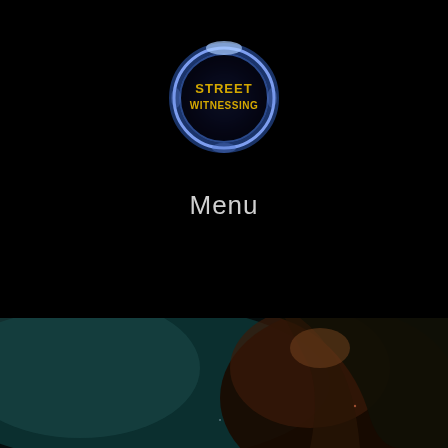[Figure (logo): Street Witnessing logo: circular blue glowing ring with gold text 'STREET WITNESSING' in the center, on a black background]
Menu
[Figure (photo): Dark cinematic background image showing a silhouette of a person's head and shoulder profile against a teal/dark background with dim lighting]